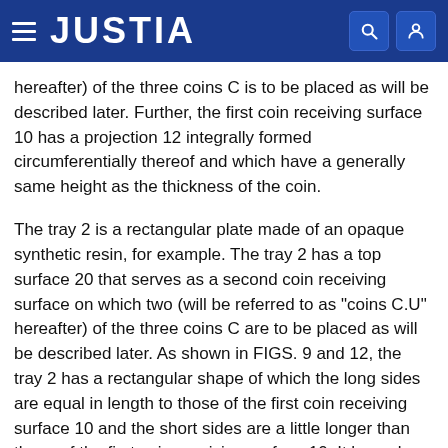JUSTIA
hereafter) of the three coins C is to be placed as will be described later. Further, the first coin receiving surface 10 has a projection 12 integrally formed circumferentially thereof and which have a generally same height as the thickness of the coin.
The tray 2 is a rectangular plate made of an opaque synthetic resin, for example. The tray 2 has a top surface 20 that serves as a second coin receiving surface on which two (will be referred to as "coins C.U" hereafter) of the three coins C are to be placed as will be described later. As shown in FIGS. 9 and 12, the tray 2 has a rectangular shape of which the long sides are equal in length to those of the first coin receiving surface 10 and the short sides are a little longer than those of the first coin receiving surface 10. It has a low vertical projection 25 integrally formed circumferentially thereof. This tray